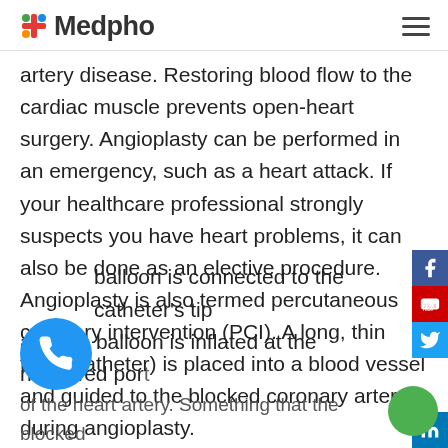Medpho
artery disease. Restoring blood flow to the cardiac muscle prevents open-heart surgery. Angioplasty can be performed in an emergency, such as a heart attack. If your healthcare professional strongly suspects you have heart problems, it can also be done as an elective procedure. Angioplasty is also termed percutaneous coronary intervention (PCI). A long, thin tube (catheter) is placed into a blood vessel and guided to the blocked coronary artery during angioplasty.
balloon is connected to the catheter's tip and the balloon is inflated at the narrowed portion of the heart artery. Something that the blocked...